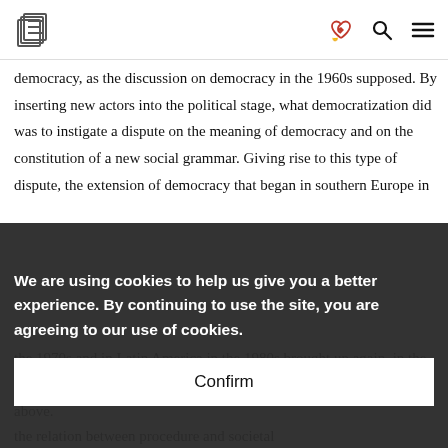[Logo] [heart-handshake icon] [search icon] [menu icon]
democracy, as the discussion on democracy in the 1960s supposed. By inserting new actors into the political stage, what democratization did was to instigate a dispute on the meaning of democracy and on the constitution of a new social grammar. Giving rise to this type of dispute, the extension of democracy that began in southern Europe in the 1970s and in Latin America in the 1980s brought up again, in the agenda of the discussion on democracy, the three questions discussed above.
We are using cookies to help us give you a better experience. By continuing to use the site, you are agreeing to our use of cookies.
Confirm
the relation between procedure and societal